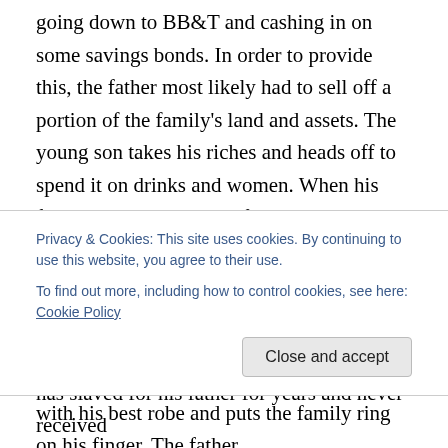going down to BB&T and cashing in on some savings bonds. In order to provide this, the father most likely had to sell off a portion of the family's land and assets. The young son takes his riches and heads off to spend it on drinks and women. When his funds run dry and he's left starving, he decides to return to his father and beg for work as a servant so that he might have something to eat. Before he even reaches the mailbox, his father runs to him and embraces him. The father clothes the son with his best robe and puts the family ring on his finger. The father
Privacy & Cookies: This site uses cookies. By continuing to use this website, you agree to their use.
To find out more, including how to control cookies, see here: Cookie Policy
has slaved for his father for years and never received